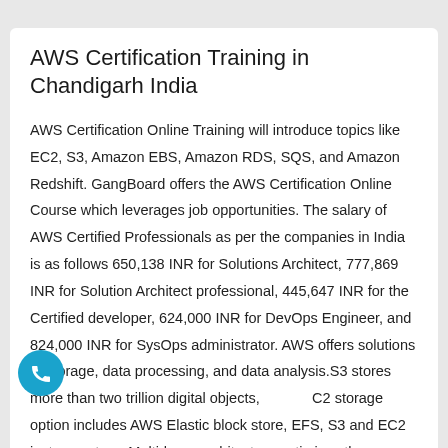AWS Certification Training in Chandigarh India
AWS Certification Online Training will introduce topics like EC2, S3, Amazon EBS, Amazon RDS, SQS, and Amazon Redshift. GangBoard offers the AWS Certification Online Course which leverages job opportunities. The salary of AWS Certified Professionals as per the companies in India is as follows 650,138 INR for Solutions Architect, 777,869 INR for Solution Architect professional, 445,647 INR for the Certified developer, 624,000 INR for DevOps Engineer, and 824,000 INR for SysOps administrator. AWS offers solutions to storage, data processing, and data analysis.S3 stores more than two trillion digital objects, EC2 storage option includes AWS Elastic block store, EFS, S3 and EC2 instance store. Multi-layer architecture optimizes the